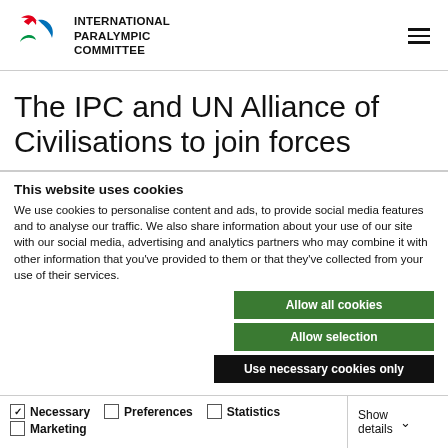INTERNATIONAL PARALYMPIC COMMITTEE
The IPC and UN Alliance of Civilisations to join forces
This website uses cookies
We use cookies to personalise content and ads, to provide social media features and to analyse our traffic. We also share information about your use of our site with our social media, advertising and analytics partners who may combine it with other information that you've provided to them or that they've collected from your use of their services.
Allow all cookies | Allow selection | Use necessary cookies only
Necessary (checked) | Preferences | Statistics | Marketing | Show details